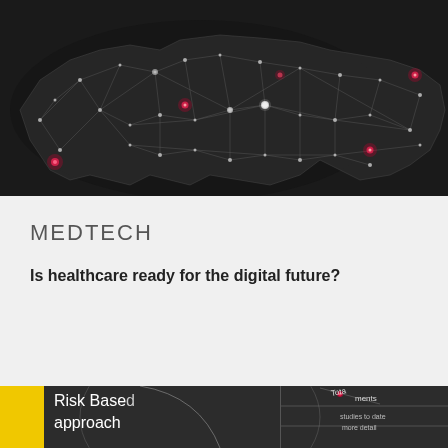[Figure (illustration): Dark network map visualization showing interconnected nodes and lines forming a geographic shape, with pink/red glowing hotspot nodes scattered across the network against a near-black background.]
MEDTECH
Is healthcare ready for the digital future?
[Figure (illustration): Partial view of a document/presentation cover with a yellow sidebar, dark background, text reading 'Risk Based approach' in white, and a partial chart/table visible on the right side with labels including 'Tota', 'ments', 'studies to date', 'more detail'.]